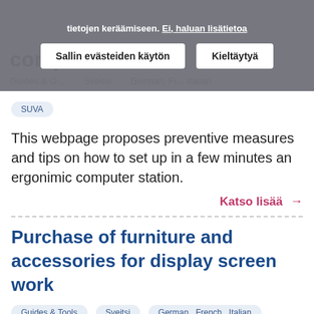[Figure (screenshot): Cookie consent banner overlay with Finnish text, two buttons: 'Sallin evästeiden käytön' and 'Kieltäytyä', overlaid on a webpage header showing 'computer station' title and navigation.]
SUVA
This webpage proposes preventive measures and tips on how to set up in a few minutes an ergonimic computer station.
Katso lisää →
Purchase of furniture and accessories for display screen work
Guides & Tools   Sveitsi   German , French , Italian
SUVA
This guide presents several ergonomic criteria, e.g. adapted to the morphology of the users, that must